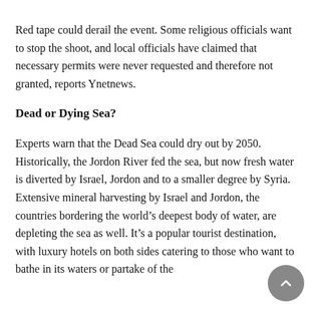Red tape could derail the event. Some religious officials want to stop the shoot, and local officials have claimed that necessary permits were never requested and therefore not granted, reports Ynetnews.
Dead or Dying Sea?
Experts warn that the Dead Sea could dry out by 2050. Historically, the Jordon River fed the sea, but now fresh water is diverted by Israel, Jordon and to a smaller degree by Syria. Extensive mineral harvesting by Israel and Jordon, the countries bordering the world’s deepest body of water, are depleting the sea as well. It’s a popular tourist destination, with luxury hotels on both sides catering to those who want to bathe in its waters or partake of the